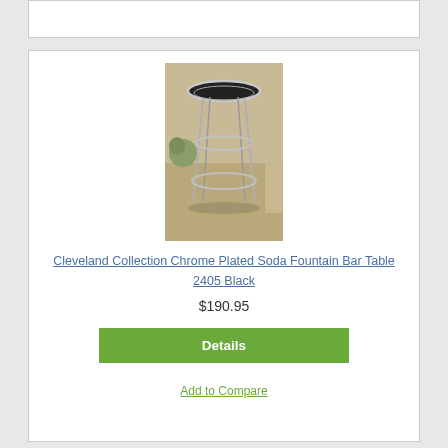[Figure (photo): A chrome plated soda fountain bar table with a black round top and chrome legs with circular footrests, photographed in a room setting with beige walls and carpet.]
Cleveland Collection Chrome Plated Soda Fountain Bar Table 2405 Black
$190.95
Details
Add to Compare